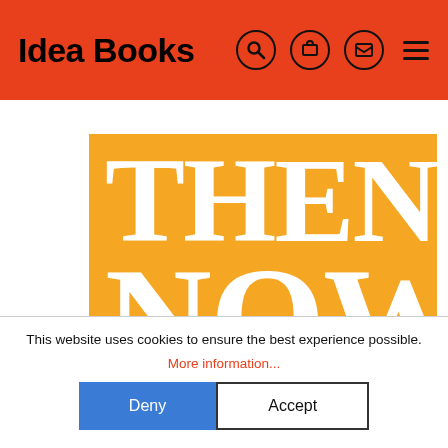Idea Books
[Figure (illustration): Book cover with orange background showing large white serif text reading THEN NOW]
This website uses cookies to ensure the best experience possible. More information...
Deny  Accept